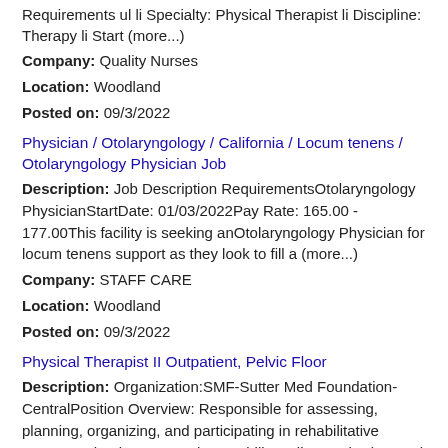Requirements ul li Specialty: Physical Therapist li Discipline: Therapy li Start (more...)
Company: Quality Nurses
Location: Woodland
Posted on: 09/3/2022
Physician / Otolaryngology / California / Locum tenens / Otolaryngology Physician Job
Description: Job Description RequirementsOtolaryngology PhysicianStartDate: 01/03/2022Pay Rate: 165.00 - 177.00This facility is seeking anOtolaryngology Physician for locum tenens support as they look to fill a (more...)
Company: STAFF CARE
Location: Woodland
Posted on: 09/3/2022
Physical Therapist II Outpatient, Pelvic Floor
Description: Organization:SMF-Sutter Med Foundation-CentralPosition Overview: Responsible for assessing, planning, organizing, and participating in rehabilitative programs that improve patient mobility, relieve pain, (more...)
Company: Sutter Health
Location: Woodland
Posted on: 09/3/2022